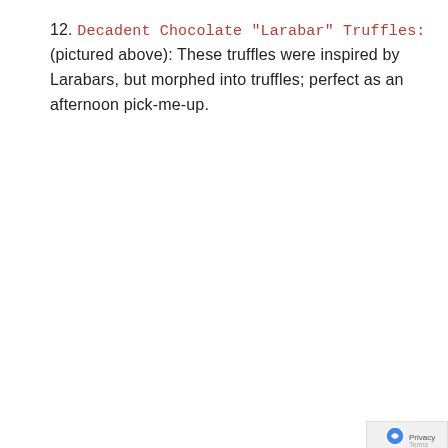12. Decadent Chocolate “Larabar” Truffles: (pictured above): These truffles were inspired by Larabars, but morphed into truffles; perfect as an afternoon pick-me-up.
[Figure (infographic): Pin It button and four social sharing icons: Pinterest (red), Facebook (dark blue), Twitter (light blue), Email (gray)]
[Figure (infographic): Bio and Latest Posts tabs. Bio tab selected with dark background. Below: author avatar image, KIMIHARRIS name in red caps, and 'I love beautiful and simple food that' text.]